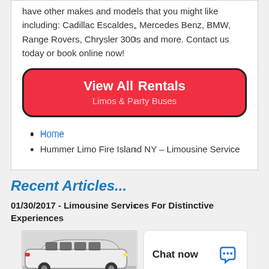have other makes and models that you might like including: Cadillac Escaldes, Mercedes Benz, BMW, Range Rovers, Chrysler 300s and more. Contact us today or book online now!
[Figure (other): Red rounded rectangle button with text 'View All Rentals' and subtitle 'Limos & Party Buses']
Home
Hummer Limo Fire Island NY – Limousine Service
Recent Articles...
01/30/2017 - Limousine Services For Distinctive Experiences
[Figure (photo): White Hummer stretch limousine photo]
Chat now